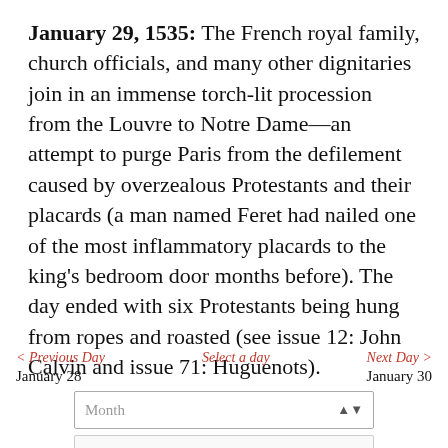January 29, 1535: The French royal family, church officials, and many other dignitaries join in an immense torch-lit procession from the Louvre to Notre Dame—an attempt to purge Paris from the defilement caused by overzealous Protestants and their placards (a man named Feret had nailed one of the most inflammatory placards to the king's bedroom door months before). The day ended with six Protestants being hung from ropes and roasted (see issue 12: John Calvin and issue 71: Huguenots).
< Previous Day | Select a day | Next Day > | January 28 | January 30 | Month | Date